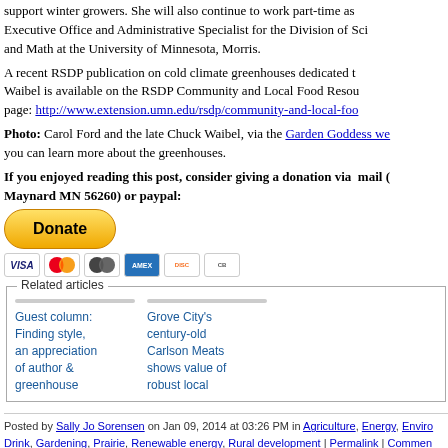support winter growers. She will also continue to work part-time as Executive Office and Administrative Specialist for the Division of Science and Math at the University of Minnesota, Morris.
A recent RSDP publication on cold climate greenhouses dedicated to Waibel is available on the RSDP Community and Local Food Resources page: http://www.extension.umn.edu/rsdp/community-and-local-food
Photo: Carol Ford and the late Chuck Waibel, via the Garden Goddess website, where you can learn more about the greenhouses.
If you enjoyed reading this post, consider giving a donation via mail (Maynard MN 56260) or paypal:
[Figure (other): Donate button and payment card icons (Visa, Mastercard, Maestro, AmEx, Discover, other)]
Related articles
Guest column: Finding style, an appreciation of author & greenhouse
Grove City's century-old Carlson Meats shows value of robust local
Posted by Sally Jo Sorensen on Jan 09, 2014 at 03:26 PM in Agriculture, Energy, Environment, Food & Drink, Gardening, Prairie, Renewable energy, Rural development | Permalink | Comments